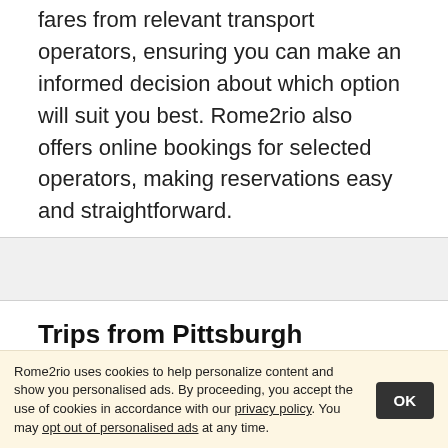fares from relevant transport operators, ensuring you can make an informed decision about which option will suit you best. Rome2rio also offers online bookings for selected operators, making reservations easy and straightforward.
Trips from Pittsburgh
Pittsburgh to Mackinac Island
Pittsburgh to Asheville
Pittsburgh to Allentown
Pittsburgh to The Meadows Racetrack and Casino
Rome2rio uses cookies to help personalize content and show you personalised ads. By proceeding, you accept the use of cookies in accordance with our privacy policy. You may opt out of personalised ads at any time.